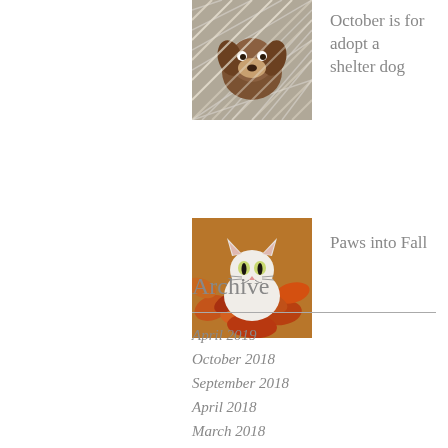[Figure (photo): A dog behind a chain-link fence shelter cage]
October is for adopt a shelter dog
[Figure (photo): A white cat sitting among autumn leaves]
Paws into Fall
Archive
April 2019
October 2018
September 2018
April 2018
March 2018
February 2018
January 2018
December 2017
November 2017